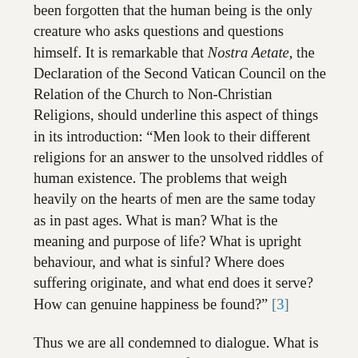been forgotten that the human being is the only creature who asks questions and questions himself. It is remarkable that Nostra Aetate, the Declaration of the Second Vatican Council on the Relation of the Church to Non-Christian Religions, should underline this aspect of things in its introduction: “Men look to their different religions for an answer to the unsolved riddles of human existence. The problems that weigh heavily on the hearts of men are the same today as in past ages. What is man? What is the meaning and purpose of life? What is upright behaviour, and what is sinful? Where does suffering originate, and what end does it serve? How can genuine happiness be found?” [3]
Thus we are all condemned to dialogue. What is dialogue? It is the search for an inter-understanding between two individuals with a view to a common interpretation of their agreement or their disagreement. It implies a common language,